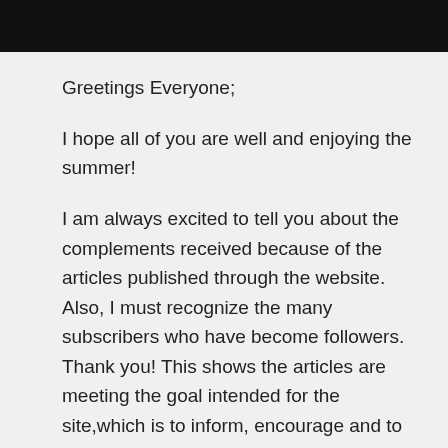Greetings Everyone;
I hope all of you are well and enjoying the summer!
I am always excited to tell you about the complements received because of the articles published through the website. Also, I must recognize the many subscribers who have become followers. Thank you! This shows the articles are meeting the goal intended for the site,which is to inform, encourage and to educate. Many thanks to all the contributing writers for helping to meet the goal.
And; thank you Ms. Candace for sharing an important